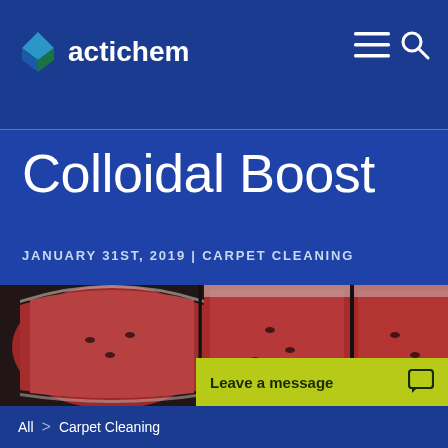actichem
Colloidal Boost
JANUARY 31ST, 2019 | CARPET CLEANING
[Figure (photo): Close-up photograph of sliced watermelon pieces showing red flesh and white rind, arranged side by side]
Leave a message
All > Carpet Cleaning